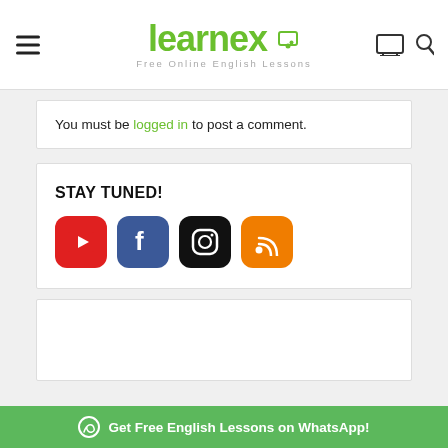learnex - Free Online English Lessons
You must be logged in to post a comment.
STAY TUNED!
[Figure (illustration): Four social media icons: YouTube (red), Facebook (blue), Instagram (black), RSS (orange)]
[Figure (illustration): Empty white content box]
Get Free English Lessons on WhatsApp!